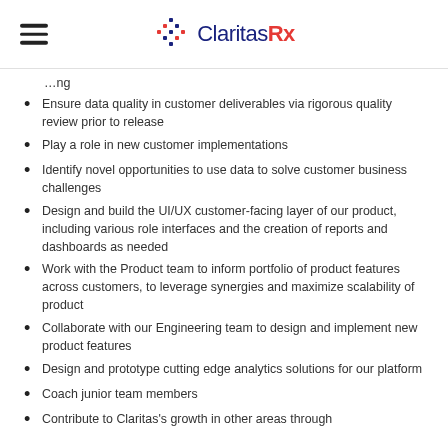ClaritasRx
Ensure data quality in customer deliverables via rigorous quality review prior to release
Play a role in new customer implementations
Identify novel opportunities to use data to solve customer business challenges
Design and build the UI/UX customer-facing layer of our product, including various role interfaces and the creation of reports and dashboards as needed
Work with the Product team to inform portfolio of product features across customers, to leverage synergies and maximize scalability of product
Collaborate with our Engineering team to design and implement new product features
Design and prototype cutting edge analytics solutions for our platform
Coach junior team members
Contribute to Claritas's growth in other areas through